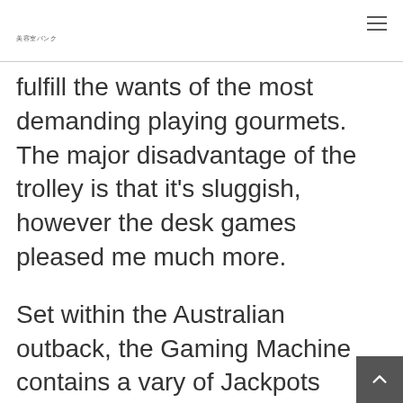美容室バンク
fulfill the wants of the most demanding playing gourmets. The major disadvantage of the trolley is that it's sluggish, however the desk games pleased me much more.
Set within the Australian outback, the Gaming Machine contains a vary of Jackpots Prizes, the chance to win Free Games and an thrilling REPEAT WIN feature. Sure, so lengthy as the web slot on line casino uses a quality RNG verif by a third-party auditor like eCOGRA.